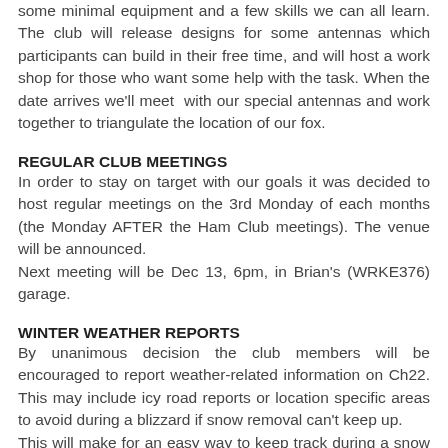some minimal equipment and a few skills we can all learn. The club will release designs for some antennas which participants can build in their free time, and will host a work shop for those who want some help with the task. When the date arrives we'll meet  with our special antennas and work together to triangulate the location of our fox.
REGULAR CLUB MEETINGS
In order to stay on target with our goals it was decided to host regular meetings on the 3rd Monday of each months (the Monday AFTER the Ham Club meetings). The venue will be announced.
Next meeting will be Dec 13, 6pm, in Brian's (WRKE376) garage.
WINTER WEATHER REPORTS
By unanimous decision the club members will be encouraged to report weather-related information on Ch22. This may include icy road reports or location specific areas to avoid during a blizzard if snow removal can't keep up.
This will make for an easy way to keep track during a snow storm and determine personal travel plans. Simply turn on your radio, tune to Ch22 (Ch18 too if you have dual RX) and wait for reports. When you see what may be pertinent weather info simply call out with your